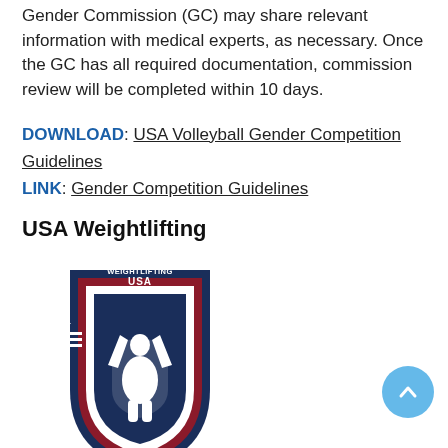Gender Commission (GC) may share relevant information with medical experts, as necessary. Once the GC has all required documentation, commission review will be completed within 10 days.
DOWNLOAD: USA Volleyball Gender Competition Guidelines
LINK: Gender Competition Guidelines
USA Weightlifting
[Figure (logo): USA Weightlifting logo — shield shape in navy blue and dark red/maroon with a stylized lifter silhouette and the text 'USA WEIGHTLIFTING' at the top, with a star and barbell accent marks on the left.]
Updated February 2019: In January 2017, USA Weightlifting created a Policy for Transgender Inclusion. The policy requires a formal letter with a request to participate in USA Weightlifting sanctioned events, which must include a statement affirming the gender identity of the athlete. The athlete must [show] confirmation of